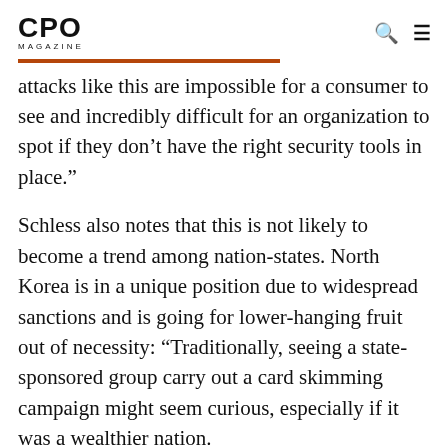CPO MAGAZINE
attacks like this are impossible for a consumer to see and incredibly difficult for an organization to spot if they don’t have the right security tools in place.”
Schless also notes that this is not likely to become a trend among nation-states. North Korea is in a unique position due to widespread sanctions and is going for lower-hanging fruit out of necessity: “Traditionally, seeing a state-sponsored group carry out a card skimming campaign might seem curious, especially if it was a wealthier nation.